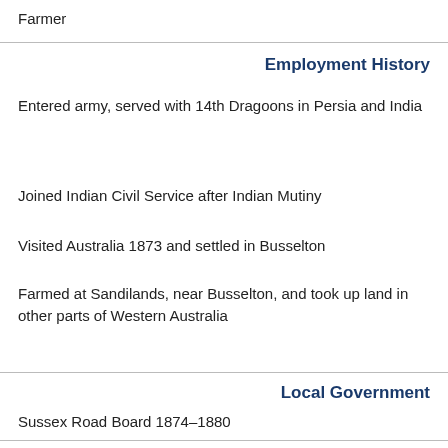Farmer
Employment History
Entered army, served with 14th Dragoons in Persia and India
Joined Indian Civil Service after Indian Mutiny
Visited Australia 1873 and settled in Busselton
Farmed at Sandilands, near Busselton, and took up land in other parts of Western Australia
Local Government
Sussex Road Board 1874–1880
Principal Honours